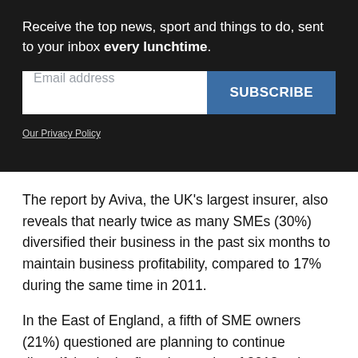Receive the top news, sport and things to do, sent to your inbox every lunchtime.
Our Privacy Policy
The report by Aviva, the UK's largest insurer, also reveals that nearly twice as many SMEs (30%) diversified their business in the past six months to maintain business profitability, compared to 17% during the same time in 2011.
In the East of England, a fifth of SME owners (21%) questioned are planning to continue diversifying in the first six months of 2013 to keep their businesses